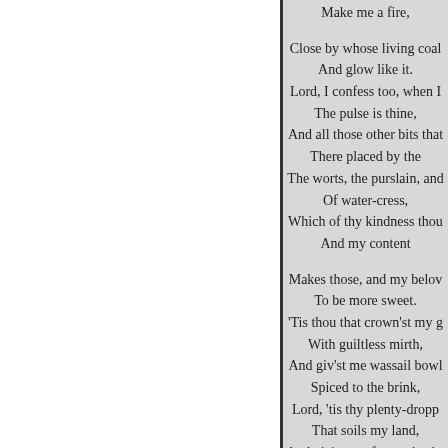Make me a fire,

Close by whose living coal
And glow like it.
Lord, I confess too, when I
The pulse is thine,
And all those other bits that
There placed by the
The worts, the purslain, and
Of water-cress,
Which of thy kindness thou
And my content

Makes those, and my belov
To be more sweet.
'Tis thou that crown'st my g
With guiltless mirth,
And giv'st me wassail bowl
Spiced to the brink,
Lord, 'tis thy plenty-dropp
That soils my land,
And giv'st me, for my bushe
Twice ten for one;
Thou mak'st my teeming h